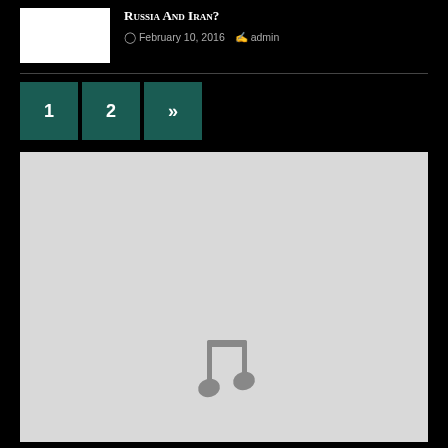Russia And Iran?
February 10, 2016   admin
[Figure (illustration): Pagination buttons: 1, 2, >>]
[Figure (other): Gray media placeholder with a music note icon in the center-bottom area]